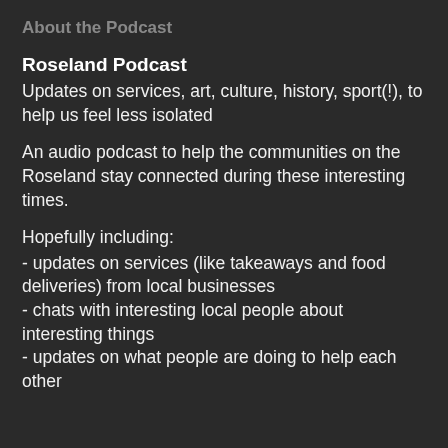About the Podcast
Roseland Podcast
Updates on services, art, culture, history, sport(!), to help us feel less isolated
An audio podcast to help the communities on the Roseland stay connected during these interesting times.
Hopefully including:
- updates on services (like takeaways and food deliveries) from local businesses
- chats with interesting local people about interesting things
- updates on what people are doing to help each other